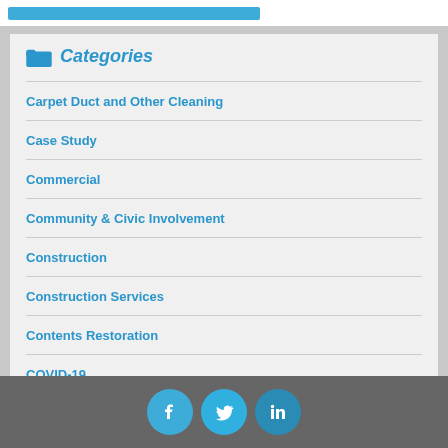Categories
Carpet Duct and Other Cleaning
Case Study
Commercial
Community & Civic Involvement
Construction
Construction Services
Contents Restoration
COVID-19
Fire, Smoke, & Odor Damage
Home Page content
[Figure (infographic): Social media icons: Facebook, Twitter, LinkedIn in circular buttons]